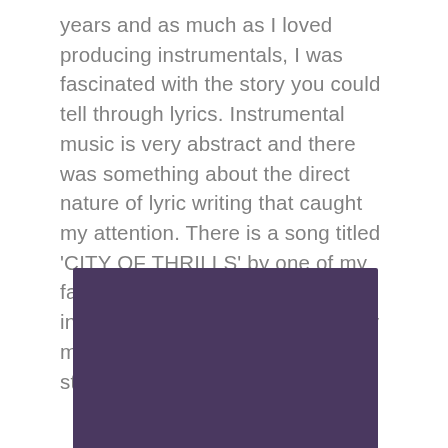years and as much as I loved producing instrumentals, I was fascinated with the story you could tell through lyrics. Instrumental music is very abstract and there was something about the direct nature of lyric writing that caught my attention. There is a song titled 'CITY OF THRILLS' by one of my favorite rappers, JVCKJ that inspired me to be vulnerable in my music and start telling my own story.
[Figure (photo): A blurry, abstract photo with dark purple, black, and soft lavender/white tones — appears to be an atmospheric or artistic music-related image.]